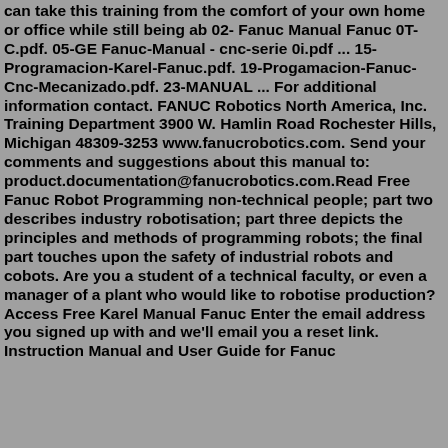can take this training from the comfort of your own home or office while still being ab 02- Fanuc Manual Fanuc 0T-C.pdf. 05-GE Fanuc-Manual - cnc-serie 0i.pdf ... 15-Programacion-Karel-Fanuc.pdf. 19-Progamacion-Fanuc-Cnc-Mecanizado.pdf. 23-MANUAL ... For additional information contact. FANUC Robotics North America, Inc. Training Department 3900 W. Hamlin Road Rochester Hills, Michigan 48309-3253 www.fanucrobotics.com. Send your comments and suggestions about this manual to: product.documentation@fanucrobotics.com.Read Free Fanuc Robot Programming non-technical people; part two describes industry robotisation; part three depicts the principles and methods of programming robots; the final part touches upon the safety of industrial robots and cobots. Are you a student of a technical faculty, or even a manager of a plant who would like to robotise production?Access Free Karel Manual Fanuc Enter the email address you signed up with and we'll email you a reset link. Instruction Manual and User Guide for Fanuc